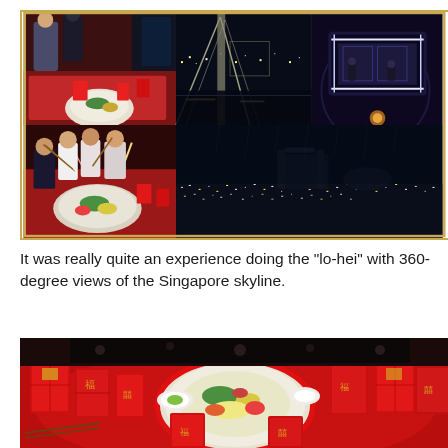[Figure (photo): Collage of 5 photos: top-left shows people at a red-decorated dining table with lo-hei dish; top-center shows a cityscape/bridge at night; top-right shows the Singapore Flyer illuminated at night; bottom-left shows people tossing lo-hei at a table; bottom-right shows a large nighttime aerial view of Singapore skyline.]
It was really quite an experience doing the "lo-hei" with 360-degree views of the Singapore skyline.
[Figure (photo): Close-up photo of a round dining table set with a lo-hei (yusheng) dish in the center, surrounded by many red Chinese New Year angpow packets and decorations on a red tablecloth.]